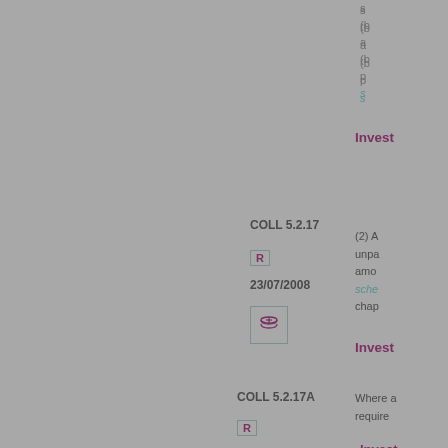s
(b
a
(b
p
s
Invest
COLL 5.2.17
R
23/07/2008
(2) A unpa amo sche chap
Invest
COLL 5.2.17A
R
Where a require